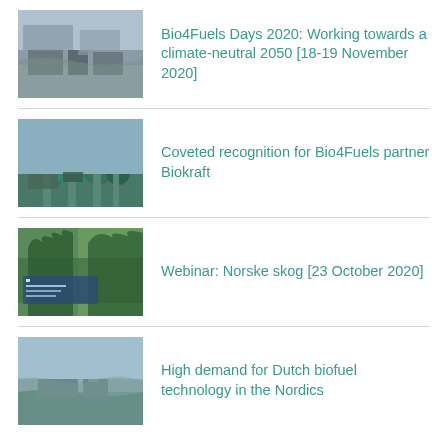[Figure (photo): Aerial view of an industrial port facility with buildings and water]
Bio4Fuels Days 2020: Working towards a climate-neutral 2050 [18-19 November 2020]
[Figure (photo): Industrial facility with large green tanks and white storage silos near water]
Coveted recognition for Bio4Fuels partner Biokraft
[Figure (photo): Forest scene with trees and a blue overlay panel with Norske Skog text]
Webinar: Norske skog [23 October 2020]
[Figure (photo): Aerial view of an industrial facility near a coastline]
High demand for Dutch biofuel technology in the Nordics